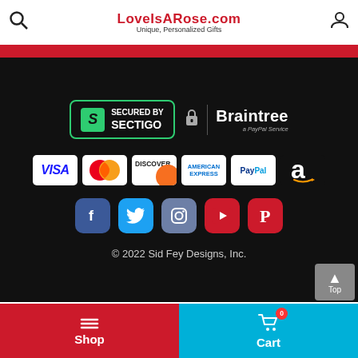LoveIsARose.com — Unique, Personalized Gifts
[Figure (logo): Security badges: Secured by Sectigo, Braintree a PayPal Service]
[Figure (logo): Payment method icons: VISA, Mastercard, Discover, American Express, PayPal, Amazon]
[Figure (logo): Social media icons: Facebook, Twitter, Instagram, YouTube, Pinterest]
© 2022 Sid Fey Designs, Inc.
Shop | Cart 0